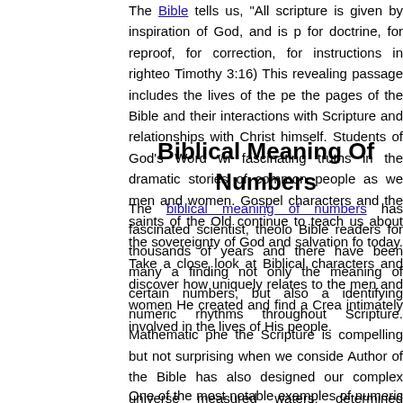The Bible tells us, "All scripture is given by inspiration of God, and is profitable for doctrine, for reproof, for correction, for instructions in righteousness" (2 Timothy 3:16) This revealing passage includes the lives of the people within the pages of the Bible and their interactions with Scripture and their relationships with Christ himself. Students of God's Word will find fascinating truths in the dramatic stories of common people as well as great men and women. Gospel characters and the saints of the Old Testament continue to teach us about the sovereignty of God and salvation for us living today. Take a close look at Biblical characters and discover how God uniquely relates to the men and women He created and find a Creator who is intimately involved in the lives of His people.
Biblical Meaning Of Numbers
The biblical meaning of numbers has fascinated scientist, theologians, and Bible readers for thousands of years and there have been many attempts at finding not only the meaning of certain numbers, but also at identifying numeric rhythms throughout Scripture. Mathematic phenomena in the Scripture is compelling but not surprising when we consider that the Author of the Bible has also designed our complex universe, who has measured waters, determined heavenly spans, and is capable of counting the sand grains on the sea shores and the hairs on any one person's head. The natural order of our world is precise and orderly. Therefore, it is not surprising to discover that the written Word, too, has mathematical structure. There are many explanations and opinions biblical numbers and some a have concrete merit. But there is fascinating evidence of numeric significance and we will take a look at a few of the most obvious ones in this brief article.
One of the most notable examples of numeric significance in God...